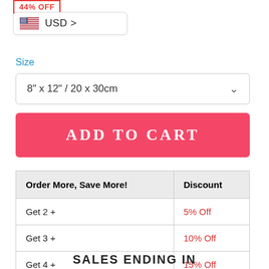44% OFF
🇺🇸 USD >
Size
8" x 12" / 20 x 30cm
ADD TO CART
| Order More, Save More! | Discount |
| --- | --- |
| Get 2 + | 5% Off |
| Get 3 + | 10% Off |
| Get 4 + | 15% Off |
SALES ENDING IN